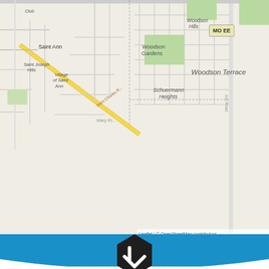[Figure (map): OpenStreetMap showing Saint Ann, Missouri area with neighborhoods including Saint Joseph Hills, Village of Saint Ann, Woodson Gardens, Woodson Hills, Woodson Terrace, Schuermann Heights. Roads shown include Saint Charles Rock Road and others. Map attribution: Leaflet | © OpenStreetMap contributors]
[Figure (infographic): Blue banner with white curved bottom edge and a dark hexagon icon containing a white downward arrow, overlaid on the map]
This website uses cookies to ensure you get the best experience on our website.
Learn more